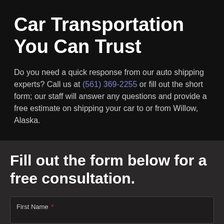Car Transportation You Can Trust
Do you need a quick response from our auto shipping experts? Call us at (561) 369-2255 or fill out the short form; our staff will answer any questions and provide a free estimate on shipping your car to or from Willow, Alaska.
Fill out the form below for a free consultation.
First Name *
Last Name *